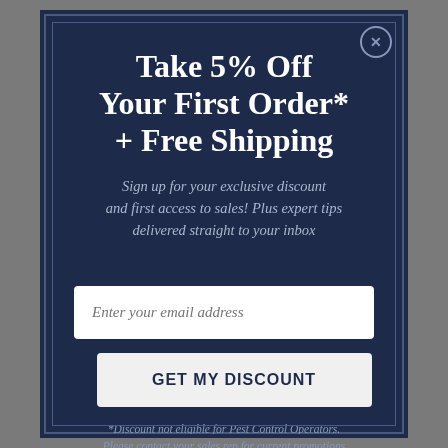Take 5% Off Your First Order* + Free Shipping
Sign up for your exclusive discount and first access to sales! Plus expert tips delivered straight to your inbox
[Figure (screenshot): Email input field with placeholder text 'Enter your email address']
[Figure (screenshot): Button labeled 'GET MY DISCOUNT']
*Discount not eligible for Pest Control Operators. Please contact your sales rep for current promotions